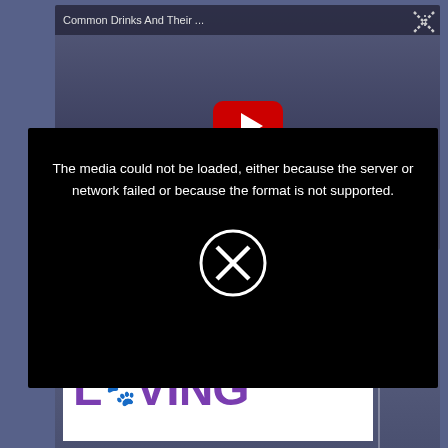[Figure (screenshot): A webpage screenshot showing a YouTube video thumbnail titled 'Common Drinks And Their ...' with a video media error dialog overlaid. The error dialog is a black box with white text reading 'The media could not be loaded, either because the server or network failed or because the format is not supported.' with a circled X icon. Below is a partially visible book cover for 'BALANCED LIVING'. A close (X) button is visible in the upper-right area.]